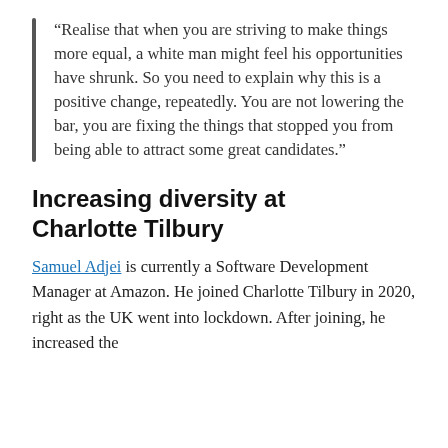“Realise that when you are striving to make things more equal, a white man might feel his opportunities have shrunk. So you need to explain why this is a positive change, repeatedly. You are not lowering the bar, you are fixing the things that stopped you from being able to attract some great candidates.”
Increasing diversity at Charlotte Tilbury
Samuel Adjei is currently a Software Development Manager at Amazon. He joined Charlotte Tilbury in 2020, right as the UK went into lockdown. After joining, he increased the